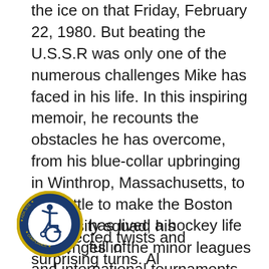As captain, Mike Eruzione led his team on the ice on that Friday, February 22, 1980. But beating the U.S.S.R was only one of the numerous challenges Mike has faced in his life. In this inspiring memoir, he recounts the obstacles he has overcome, from his blue-collar upbringing in Winthrop, Massachusetts, to his battle to make the Boston University squad; his challenges in the minor leagues and international tournaments to his selection to the U.S. team and their run for gold. He also talks about the aftermath of that stupendous win that inspired and united the nation at a time of... in its history.
[Figure (logo): ADA Site Compliance badge — circular blue and gold seal with wheelchair accessibility icon in the center, text reading ADA SITE COMPLIANCE around the perimeter with gold stars]
...has lived a hockey life full of unexpected twists and surprising turns. Al...